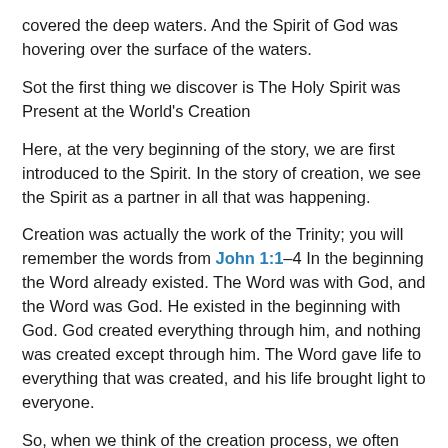covered the deep waters. And the Spirit of God was hovering over the surface of the waters.
Sot the first thing we discover is The Holy Spirit was Present at the World's Creation
Here, at the very beginning of the story, we are first introduced to the Spirit. In the story of creation, we see the Spirit as a partner in all that was happening.
Creation was actually the work of the Trinity; you will remember the words from John 1:1–4 In the beginning the Word already existed. The Word was with God, and the Word was God. He existed in the beginning with God. God created everything through him, and nothing was created except through him. The Word gave life to everything that was created, and his life brought light to everyone.
So, when we think of the creation process, we often default to God the Father, and sometimes we will remember John's words and understand that Jesus, the Son, also had a part in what was